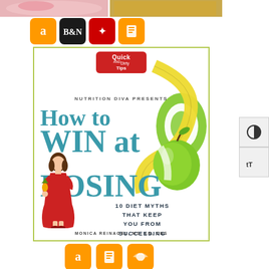[Figure (photo): Top strip showing food images — yogurt/smoothie on left, granola/grains on right]
[Figure (logo): Retailer icons row: Amazon (orange), Barnes & Noble (black), Books-A-Million (red), iBooks (orange)]
[Figure (illustration): Book cover for 'How to WIN at LOSING' by Monica Reinagel, MS, LN, CNS. Quick and Dirty Tips badge at top. Features a green apple with tape measure spiral and a cartoon woman in red dress holding a pineapple. Subtitle: 10 Diet Myths That Keep You From Succeeding.]
[Figure (logo): Bottom retailer icons: Amazon (orange), iBooks (orange), Audible (orange)]
[Figure (other): Right side UI buttons: contrast toggle and text size toggle]